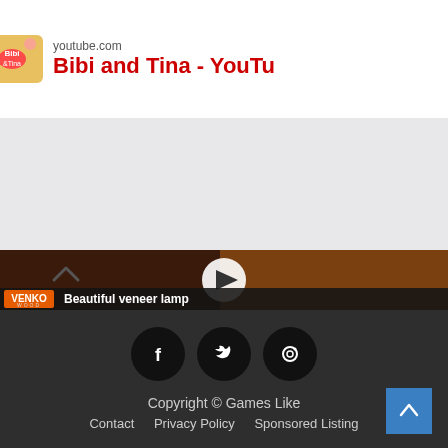[Figure (screenshot): Advertisement banner for youtube.com showing Bibi and Tina channel with logo and partially visible text 'Bibi and Tina - YouTu']
[Figure (screenshot): Video thumbnail showing wooden/veneer lamp crafts with a play button overlay, titled 'Beautiful veneer lamp' with Venko Wood branding]
Copyright © Games Like
Contact  Privacy Policy  Sponsored Listing